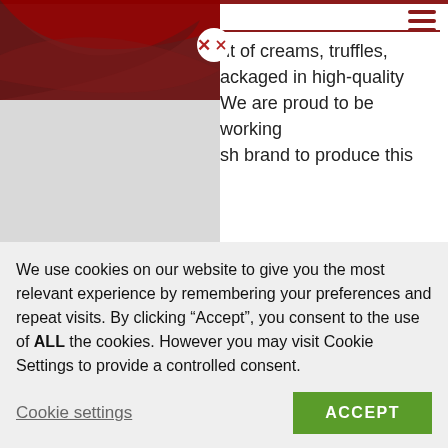nt of creams, truffles, ackaged in high-quality We are proud to be working sh brand to produce this
blocking the box has a deep ding to the sophistication th Robinson being a oplier, it only took 3 weeks n to delivery.
or at Robinson, said: “Those
erty
eld
s
We use cookies on our website to give you the most relevant experience by remembering your preferences and repeat visits. By clicking “Accept”, you consent to the use of ALL the cookies. However you may visit Cookie Settings to provide a controlled consent.
Cookie settings
ACCEPT